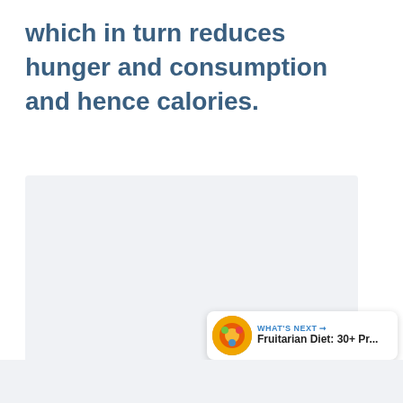which in turn reduces hunger and consumption and hence calories.
[Figure (other): Large light gray image placeholder area with three small dots at bottom center, indicating a slideshow or image carousel. Social media UI overlay on right with like button (heart icon), count '1', and share button. 'WHAT'S NEXT' card in bottom right showing Fruitarian Diet article thumbnail.]